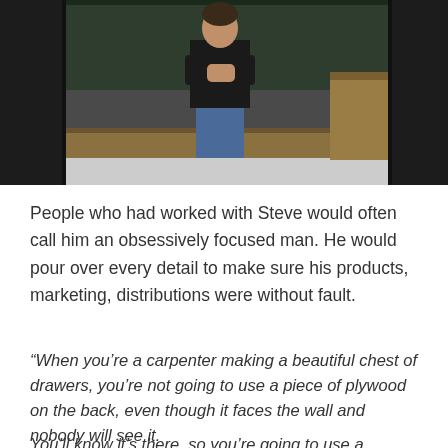[Figure (photo): A person standing in front of a wooden desk/lectern and blackboard, wearing dark clothing, hands clasped together, in what appears to be a classroom or lecture hall setting.]
People who had worked with Steve would often call him an obsessively focused man. He would pour over every detail to make sure his products, marketing, distributions were without fault.
“When you’re a carpenter making a beautiful chest of drawers, you’re not going to use a piece of plywood on the back, even though it faces the wall and nobody will see it.
You’ll know it’s there, so you’re going to use a